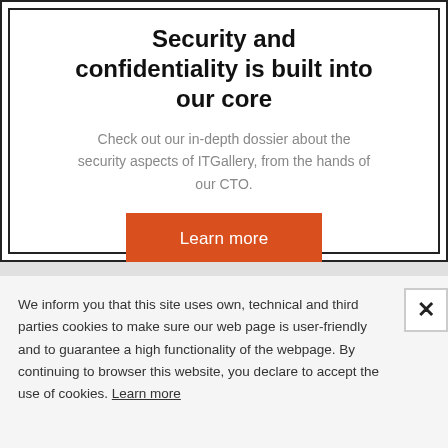Security and confidentiality is built into our core
Check out our in-depth dossier about the security aspects of ITGallery, from the hands of our CTO.
[Figure (other): Orange 'Learn more' button]
We inform you that this site uses own, technical and third parties cookies to make sure our web page is user-friendly and to guarantee a high functionality of the webpage. By continuing to browser this website, you declare to accept the use of cookies. Learn more